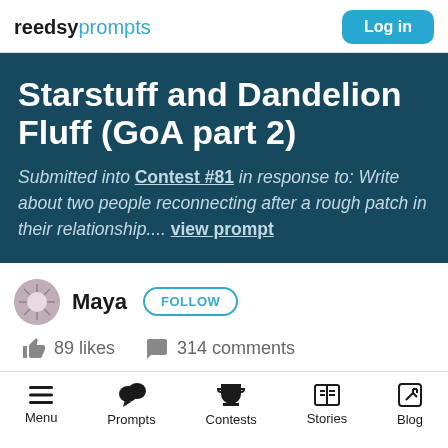reedsyprompts — Log in
Starstuff and Dandelion Fluff (GoA part 2)
Submitted into Contest #81 in response to: Write about two people reconnecting after a rough patch in their relationship.... view prompt
Maya  FOLLOW
89 likes   314 comments
Menu  Prompts  Contests  Stories  Blog